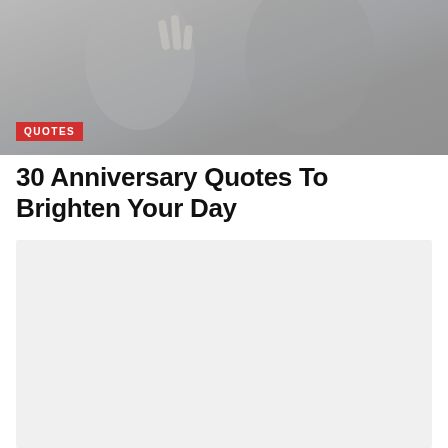[Figure (photo): Two people posing together, one making a peace sign, in a muted gray-toned photo with a red QUOTES badge overlay in the lower left]
QUOTES
30 Anniversary Quotes To Brighten Your Day
[Figure (photo): Large light gray placeholder content box below the title]